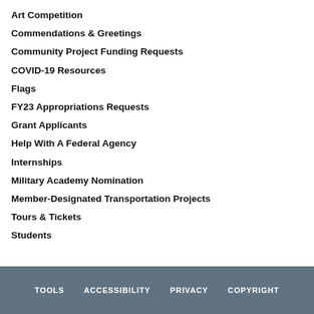Art Competition
Commendations & Greetings
Community Project Funding Requests
COVID-19 Resources
Flags
FY23 Appropriations Requests
Grant Applicants
Help With A Federal Agency
Internships
Military Academy Nomination
Member-Designated Transportation Projects
Tours & Tickets
Students
TOOLS   ACCESSIBILITY   PRIVACY   COPYRIGHT